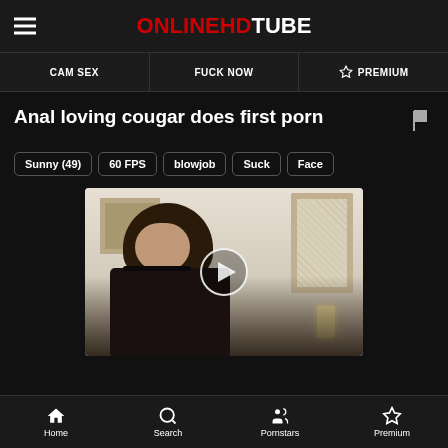ONLINEHDTUBE
CAM SEX
FUCK NOW
☆ PREMIUM
Anal loving cougar does first porn
Sunny (49)
60 FPS
blowjob
Suck
Face
[Figure (photo): Video thumbnail showing a woman with dark hair in a black top in a hotel/apartment room with a mirror and lamp visible]
Home  Search  Pornstars  Premium